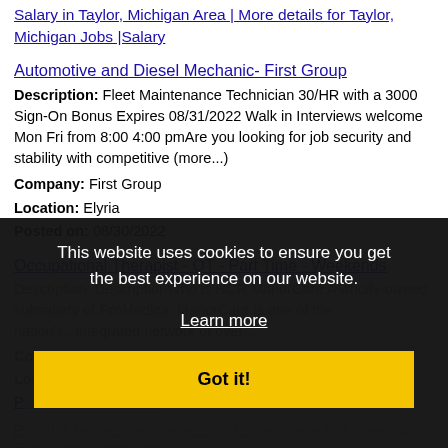Salary in Taylor, Michigan Area | More details for Taylor, Michigan Jobs |Salary
Automotive and Diesel Mechanic- First Group
Description: Fleet Maintenance Technician 30/HR with a 3000 Sign-On Bonus Expires 08/31/2022 Walk in Interviews welcome Mon Fri from 8:00 4:00 pmAre you looking for job security and stability with competitive (more...)
Company: First Group
Location: Elyria
Posted on: 08/30/2022
Occupational Therapist - OT - Part Time - Weekends
Description: DescriptionWho is HCR ManorCare A wholly-owned subsidiary of ProMedica, ManorCare is one of the nation's most respected integrated healthcare providers...network of over...
Company: ProMedica
Location: Strongsville
Posted on: 08/30/2022
Product Tester from home - Work from home Full time, No Experience Required
Description: In-Home Usage Tester Product Tester from home
This website uses cookies to ensure you get the best experience on our website.
Learn more
Got it!